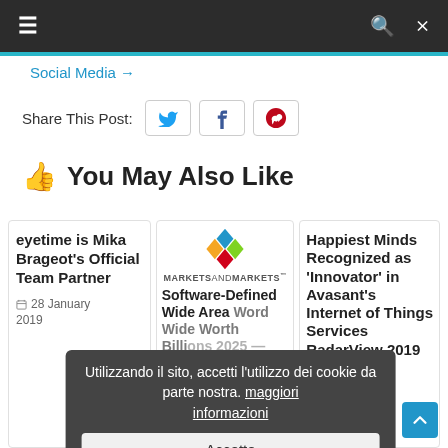Navigation bar with hamburger menu, search and shuffle icons
Social Media →
Share This Post:
👍 You May Also Like
eyetime is Mika Brageot's Official Team Partner
28 January 2019
[Figure (logo): MarketsandMarkets logo with diamond shapes in blue, yellow, red, green]
Software-Defined Wide Area Word Wide Worth Billions 2025 — Exclusive
Happiest Minds Recognized as 'Innovator' in Avasant's Internet of Things Services RadarView 2019 Report
19 February
Utilizzando il sito, accetti l'utilizzo dei cookie da parte nostra. maggiori informazioni
Accetto